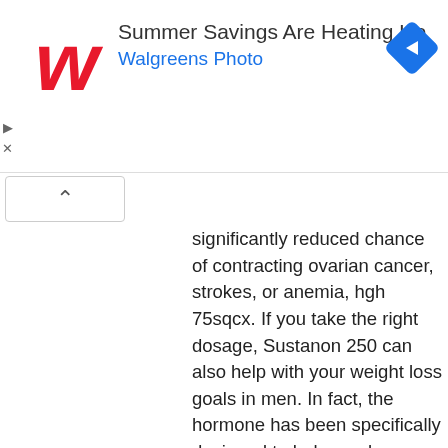[Figure (screenshot): Walgreens advertisement banner: 'Summer Savings Are Heating Up / Walgreens Photo' with Walgreens logo in red and a blue navigation arrow icon on the right. Ad close controls (triangle and X) visible on the left edge.]
significantly reduced chance of contracting ovarian cancer, strokes, or anemia, hgh 75sqcx. If you take the right dosage, Sustanon 250 can also help with your weight loss goals in men. In fact, the hormone has been specifically designed to help you lose weight, hgh effecten. By not using any hormonal replacement therapy, you'll also enjoy an increase in energy, better sleep, and an increased sex drive.
Sustanon türkei
Sustanon was originally designed for HRT (hormone replacement therapy), so the 4 testosterones would allow sustanon to stay in your system for up to 4 weeks. The 4 testosterones that make up this natural birth